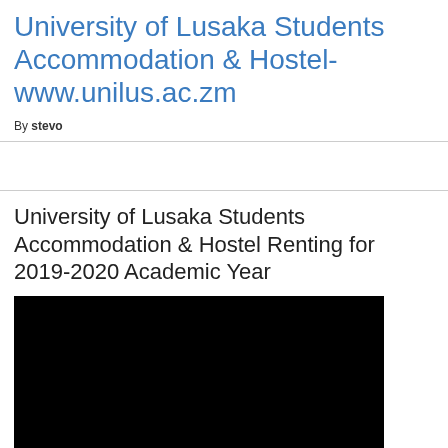University of Lusaka Students Accommodation & Hostel- www.unilus.ac.zm
By stevo
University of Lusaka Students Accommodation & Hostel Renting for 2019-2020 Academic Year
[Figure (photo): Black rectangular image placeholder, likely a video thumbnail or photo]